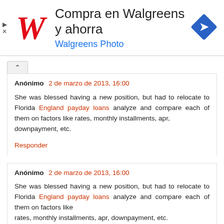[Figure (screenshot): Walgreens advertisement banner with logo, text 'Compra en Walgreens y ahorra' and 'Walgreens Photo', and a blue diamond navigation icon]
Anónimo 2 de marzo de 2013, 16:00
She was blessed having a new position, but had to relocate to Florida England payday loans analyze and compare each of them on factors like rates, monthly installments, apr,
downpayment, etc.
Responder
Anónimo 2 de marzo de 2013, 16:00
She was blessed having a new position, but had to relocate to Florida England payday loans analyze and compare each of them on factors like
rates, monthly installments, apr, downpayment, etc.
Also see my web site - England payday loans
Responder